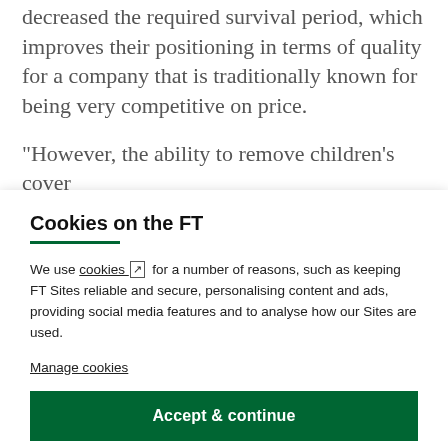decreased the required survival period, which improves their positioning in terms of quality for a company that is traditionally known for being very competitive on price.
"However, the ability to remove children’s cover altogether has not been provided, which can be important
Cookies on the FT
We use cookies ↗ for a number of reasons, such as keeping FT Sites reliable and secure, personalising content and ads, providing social media features and to analyse how our Sites are used.
Manage cookies
Accept & continue